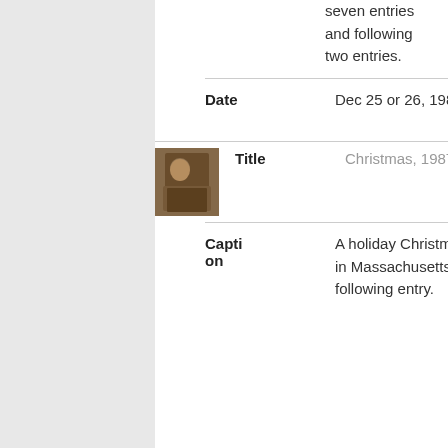seven entries and following two entries.
| Field | Value |
| --- | --- |
| Date | Dec 25 or 26, 1987. Friday or Saturday (roll date) |
[Figure (photo): Small thumbnail photo of a person at a Christmas gathering]
| Field | Value |
| --- | --- |
| Title | Christmas, 1987. 9 of 10 |
| Caption | A holiday Christmas get-together of fiends and relatives in Massachusetts. See previous eight entries and following entry. |